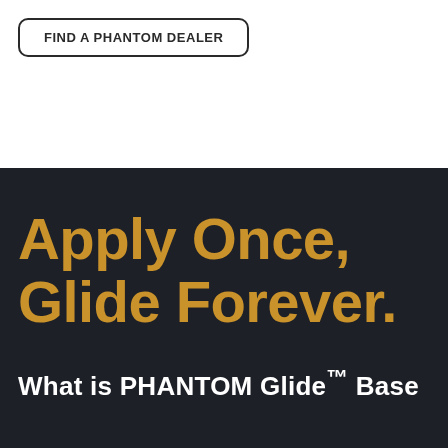FIND A PHANTOM DEALER
Apply Once, Glide Forever.
What is PHANTOM Glide™ Base